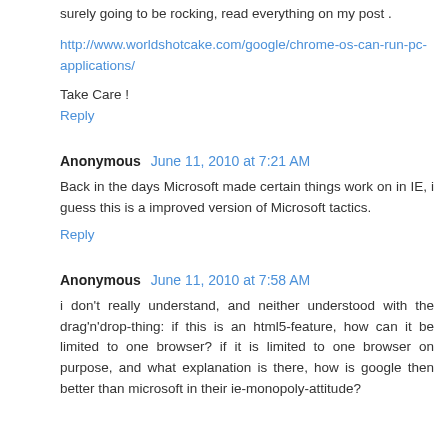surely going to be rocking, read everything on my post .
http://www.worldshotcake.com/google/chrome-os-can-run-pc-applications/
Take Care !
Reply
Anonymous June 11, 2010 at 7:21 AM
Back in the days Microsoft made certain things work on in IE, i guess this is a improved version of Microsoft tactics.
Reply
Anonymous June 11, 2010 at 7:58 AM
i don't really understand, and neither understood with the drag'n'drop-thing: if this is an html5-feature, how can it be limited to one browser? if it is limited to one browser on purpose, and what explanation is there, how is google then better than microsoft in their ie-monopoly-attitude?